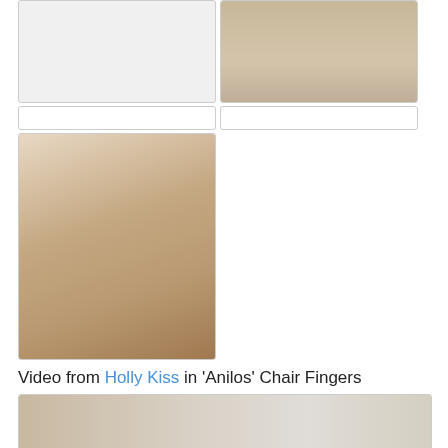[Figure (photo): Top left image placeholder (partially visible, white/light area)]
[Figure (photo): Top right photo: woman sitting on floor in beige dress with high heels on a rug]
[Figure (photo): Middle left input/search bar placeholder]
[Figure (photo): Middle right input/search bar placeholder]
[Figure (photo): Left large photo: close-up of person in beige dress on fur rug]
Video from Holly Kiss in 'Anilos' Chair Fingers
[Figure (photo): Bottom photo: woman with auburn hair seated near wooden furniture and white chair]